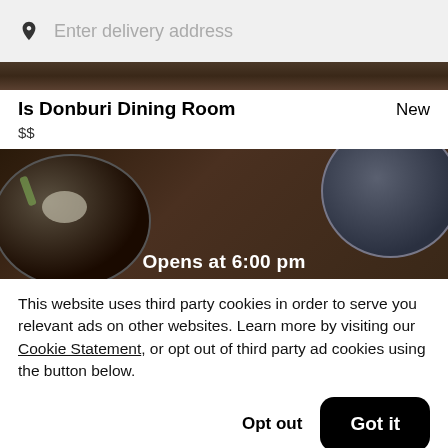Enter delivery address
[Figure (photo): Top edge of food photo showing dark bowl dishes on wooden table]
Is Donburi Dining Room
New
$$
[Figure (photo): Photo of donburi bowls on a dark wooden table with text overlay 'Opens at 6:00 pm']
This website uses third party cookies in order to serve you relevant ads on other websites. Learn more by visiting our Cookie Statement, or opt out of third party ad cookies using the button below.
Opt out
Got it